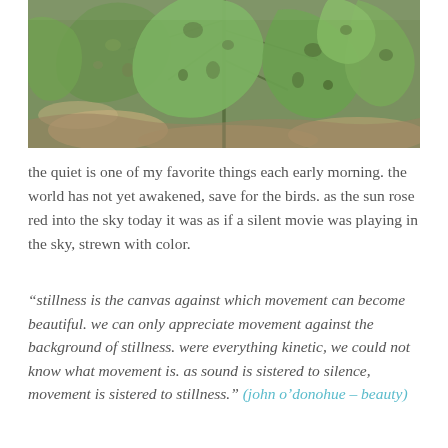[Figure (photo): Close-up photograph of green leaves with holes/damage, on a brownish ground background]
the quiet is one of my favorite things each early morning. the world has not yet awakened, save for the birds. as the sun rose red into the sky today it was as if a silent movie was playing in the sky, strewn with color.
“stillness is the canvas against which movement can become beautiful. we can only appreciate movement against the background of stillness. were everything kinetic, we could not know what movement is. as sound is sistered to silence, movement is sistered to stillness.” (john o’donohue – beauty)
sistered.
it’s the rests that give meaning to the music – the